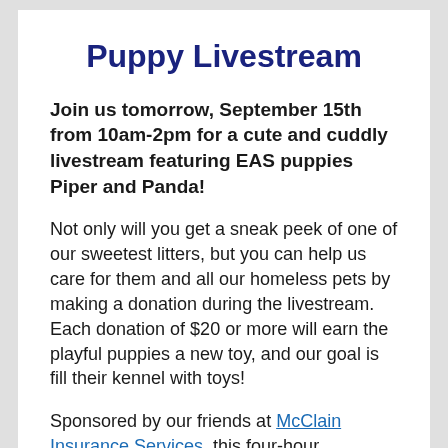Puppy Livestream
Join us tomorrow, September 15th from 10am-2pm for a cute and cuddly livestream featuring EAS puppies Piper and Panda!
Not only will you get a sneak peek of one of our sweetest litters, but you can help us care for them and all our homeless pets by making a donation during the livestream. Each donation of $20 or more will earn the playful puppies a new toy, and our goal is fill their kennel with toys!
Sponsored by our friends at McClain Insurance Services, this four-hour